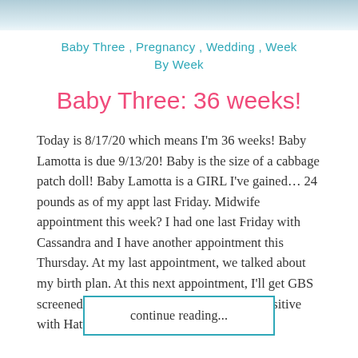[Figure (photo): Top strip showing partial photo, light blue/teal tones]
Baby Three , Pregnancy , Wedding , Week By Week
Baby Three: 36 weeks!
Today is 8/17/20 which means I'm 36 weeks! Baby Lamotta is due 9/13/20! Baby is the size of a cabbage patch doll! Baby Lamotta is a GIRL I've gained… 24 pounds as of my appt last Friday. Midwife appointment this week? I had one last Friday with Cassandra and I have another appointment this Thursday. At my last appointment, we talked about my birth plan. At this next appointment, I'll get GBS screened. I'm hoping I am negative. I was positive with Hattie so I had to go to the…
continue reading...